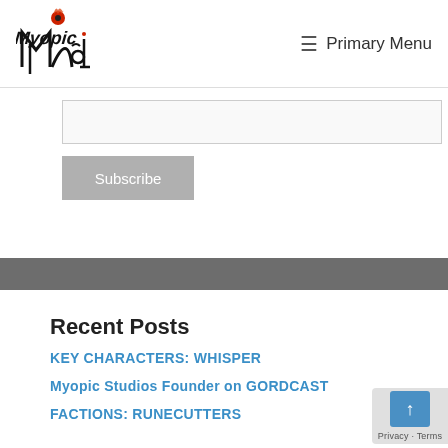Myopic — Primary Menu
[Figure (logo): Myopic Studios logo with stylized text and red eye graphic]
Subscribe (email input field and Subscribe button)
Recent Posts
KEY CHARACTERS: WHISPER
Myopic Studios Founder on GORDCAST
FACTIONS: RUNECUTTERS
[Figure (other): Scroll to top button with arrow and Privacy/Terms label]